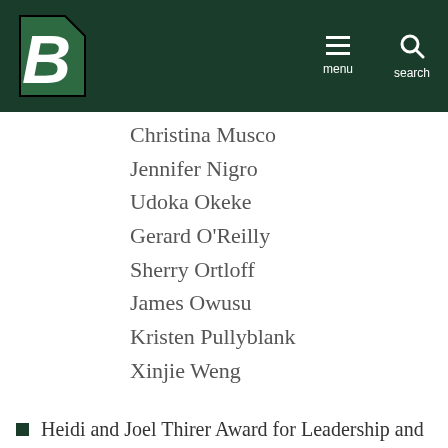Binghamton University header with logo, menu, and search
Christina Musco
Jennifer Nigro
Udoka Okeke
Gerard O'Reilly
Sherry Ortloff
James Owusu
Kristen Pullyblank
Xinjie Weng
Heidi and Joel Thirer Award for Leadership and Community Service: Sara Bocian, Samantha Cosme, Shira Ellenbogen and Madison Kozlowski
Jessica Mally Memorial Award: Colleen